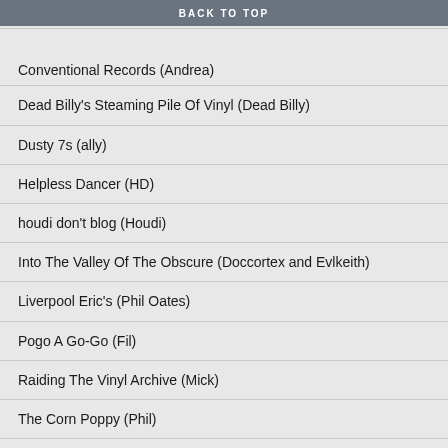BACK TO TOP
Consolation Prizes (Brian)
Conventional Records (Andrea)
Dead Billy's Steaming Pile Of Vinyl (Dead Billy)
Dusty 7s (ally)
Helpless Dancer (HD)
houdi don't blog (Houdi)
Into The Valley Of The Obscure (Doccortex and Evlkeith)
Liverpool Eric's (Phil Oates)
Pogo A Go-Go (Fil)
Raiding The Vinyl Archive (Mick)
The Corn Poppy (Phil)
The Ghost of Electricity (DavyH)
The Songs That People Sing (Simon)
The Sound of Being OK (Tim, SWG and KT)